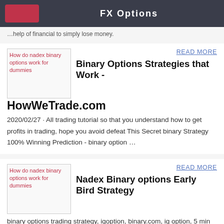FX Options
…help of financial to simply lose money.
[Figure (illustration): Broken image placeholder for 'How do nadex binary options work for dummies']
READ MORE
Binary Options Strategies that Work - HowWeTrade.com
2020/02/27 · All trading tutorial so that you understand how to get profits in trading, hope you avoid defeat This Secret binary Strategy 100% Winning Prediction - binary option …
[Figure (illustration): Broken image placeholder for 'How do nadex binary options work for dummies']
READ MORE
Nadex Binary options Early Bird Strategy
binary options trading strategy, iqoption, binary.com, iq option, 5 min binary options trading strategyTips for New Traders Work from Home Options Without Investment Trade History Using 1 Minute